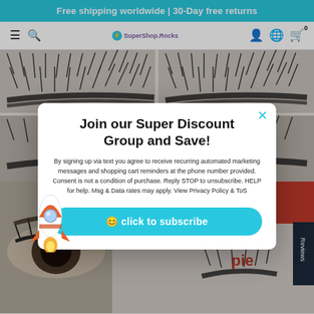Free shipping worldwide | 30-Day free returns
[Figure (screenshot): E-commerce navigation bar with hamburger menu, search icon, SuperShop.Rocks logo, account icon, globe icon, and cart icon with 0 badge]
[Figure (photo): Grid of false eyelashes product photos, two columns of stacked lash sets]
[Figure (infographic): Popup modal with title 'Join our Super Discount Group and Save!', SMS consent text, rocket illustration, and cyan subscribe button]
Join our Super Discount Group and Save!
By signing up via text you agree to receive recurring automated marketing messages and shopping cart reminders at the phone number provided. Consent is not a condition of purchase. Reply STOP to unsubscribe. HELP for help. Msg & Data rates may apply. View Privacy Policy & ToS
click to subscribe
[Figure (photo): Bottom product area showing close-up of eye with false lashes on left, red sale banner, Reviews tab, and lash product on right]